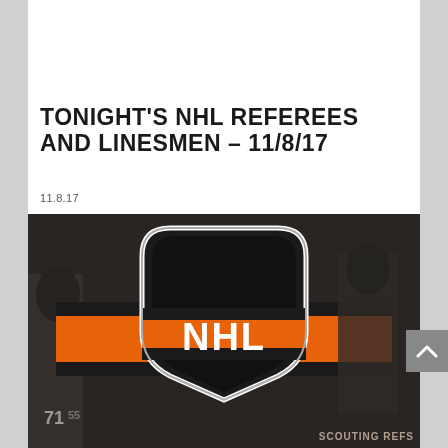[Figure (photo): Close-up of NHL logo on a hockey jersey with orange and black colors, partially cropped at top]
TONIGHT'S NHL REFEREES AND LINESMEN – 11/8/17
11.8.17
[Figure (photo): NHL shield logo centered on orange and black hockey jersey background with blurred player figures, watermark reading SCOUTING REFS in bottom right]